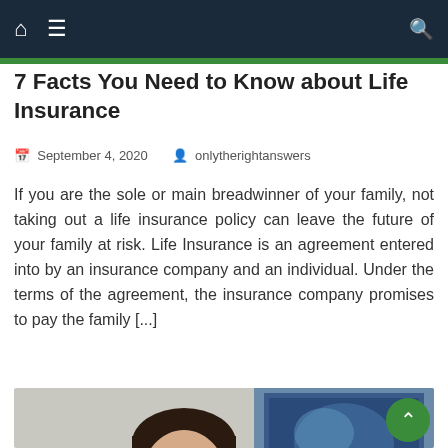Navigation bar with home icon, menu icon, and search icon
7 Facts You Need to Know about Life Insurance
September 4, 2020   onlytherightanswers
If you are the sole or main breadwinner of your family, not taking out a life insurance policy can leave the future of your family at risk. Life Insurance is an agreement entered into by an insurance company and an individual. Under the terms of the agreement, the insurance company promises to pay the family [...]
[Figure (photo): Office meeting scene with a smiling woman with glasses in the foreground holding a tablet, and colleagues sitting around a conference table in the background with a screen showing blue graphics]